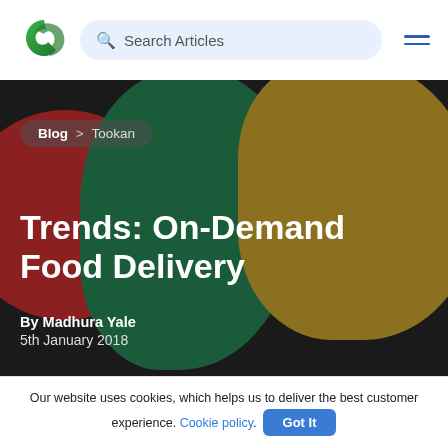[Figure (logo): Green gradient stylized quotation mark / checkmark logo]
Search Articles
[Figure (screenshot): Hamburger menu icon (three horizontal blue lines)]
[Figure (illustration): Hero background with abstract color blobs in dark red, dark green, and olive/gold on a near-black background]
Blog > Tookan
Trends: On-Demand Food Delivery
By Madhura Yale
5th January 2018
Our website uses cookies, which helps us to deliver the best customer experience. Cookie policy. Got It